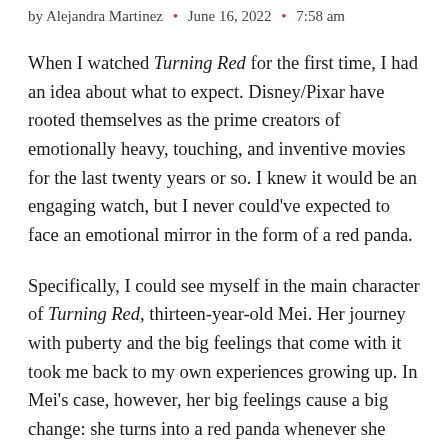by Alejandra Martinez · June 16, 2022 · 7:58 am
When I watched Turning Red for the first time, I had an idea about what to expect. Disney/Pixar have rooted themselves as the prime creators of emotionally heavy, touching, and inventive movies for the last twenty years or so. I knew it would be an engaging watch, but I never could've expected to face an emotional mirror in the form of a red panda.
Specifically, I could see myself in the main character of Turning Red, thirteen-year-old Mei. Her journey with puberty and the big feelings that come with it took me back to my own experiences growing up. In Mei's case, however, her big feelings cause a big change: she turns into a red panda whenever she feels anything too strongly. It's a trait that belongs to every woman from Mei's maternal side of the family thanks to an ancient